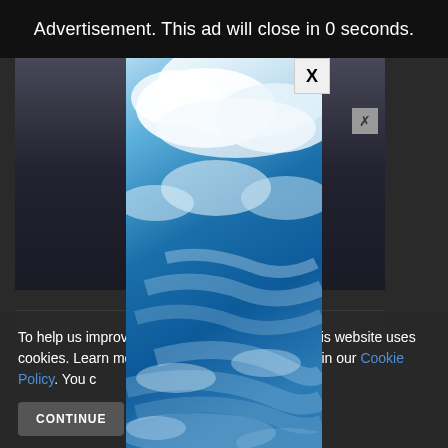Advertisement. This ad will close in 0 seconds.
[Figure (screenshot): Modal advertisement overlay showing a blue sky with white clouds photograph, with a close (X) button in the top right corner of the modal]
[Figure (photo): Background website content showing dark/dimmed photographs behind the ad overlay, with a small X dismiss button]
To help us improve y[our experience] [th]is website uses cookies. Learn more [and change] your settings in our Cookie Policy. You ca[n accept all or manage your preferences.]
Cookie Policy.
CONTINUE
FIND